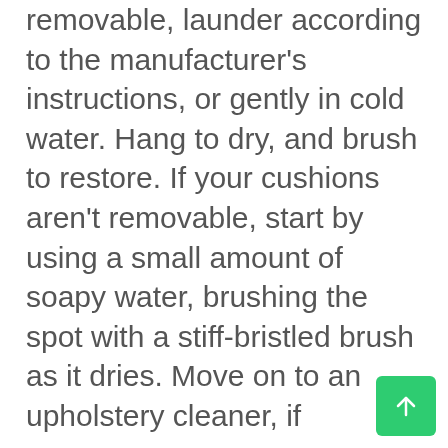removable, launder according to the manufacturer's instructions, or gently in cold water. Hang to dry, and brush to restore. If your cushions aren't removable, start by using a small amount of soapy water, brushing the spot with a stiff-bristled brush as it dries. Move on to an upholstery cleaner, if necessary.

For an “S,” “S-W,” or no code, try using straight
[Figure (other): Green rounded square button with an upward arrow icon (back-to-top button)]